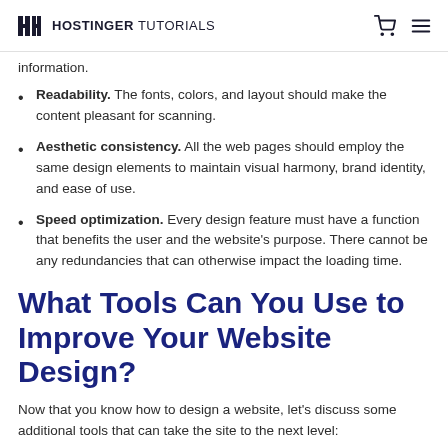HOSTINGER TUTORIALS
information.
Readability. The fonts, colors, and layout should make the content pleasant for scanning.
Aesthetic consistency. All the web pages should employ the same design elements to maintain visual harmony, brand identity, and ease of use.
Speed optimization. Every design feature must have a function that benefits the user and the website's purpose. There cannot be any redundancies that can otherwise impact the loading time.
What Tools Can You Use to Improve Your Website Design?
Now that you know how to design a website, let's discuss some additional tools that can take the site to the next level: